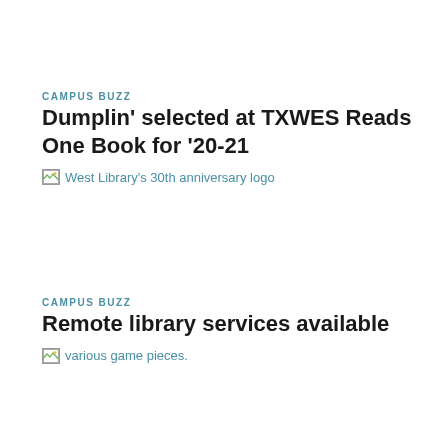CAMPUS BUZZ
Dumplin' selected at TXWES Reads One Book for '20-21
[Figure (logo): West Library's 30th anniversary logo — broken image placeholder with alt text]
CAMPUS BUZZ
Remote library services available
[Figure (photo): various game pieces — broken image placeholder with alt text]